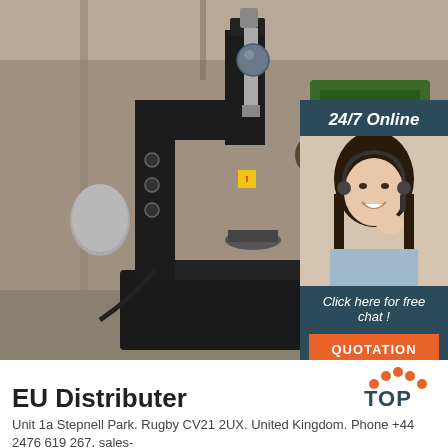[Figure (photo): Industrial press/forging machine (black) in a factory setting with green machinery visible in background. Overlaid with a 24/7 Online customer service panel showing a female agent with headset, a 'Click here for free chat!' message, and an orange QUOTATION button.]
EU Distributer
[Figure (logo): TOP logo with orange dots arranged in a triangle above the word TOP in dark blue]
Unit 1a Stepnell Park. Rugby CV21 2UX. United Kingdom. Phone +44 2476 619 267. sales-